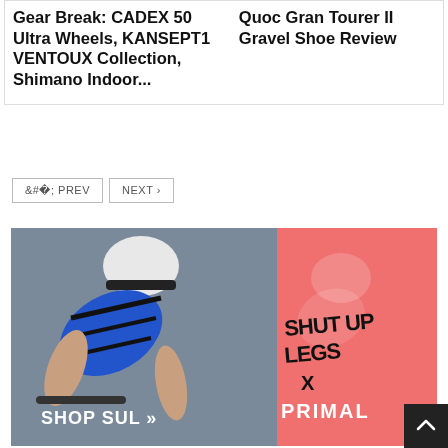Gear Break: CADEX 50 Ultra Wheels, KANSEPT1 VENTOUX Collection, Shimano Indoor...
Quoc Gran Tourer II Gravel Shoe Review
< PREV
NEXT >
[Figure (photo): Advertisement banner showing a cyclist in a blue jersey leaning over handlebars, with a coral/salmon pink right half showing 'SHUT UP LEGS x PRIMAL' text and 'SHOP SUL »' call to action.]